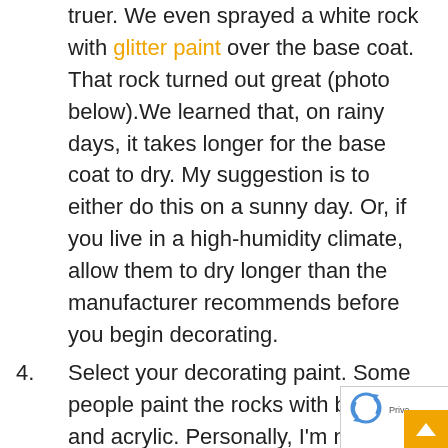truer. We even sprayed a white rock with glitter paint over the base coat. That rock turned out great (photo below).We learned that, on rainy days, it takes longer for the base coat to dry. My suggestion is to either do this on a sunny day. Or, if you live in a high-humidity climate, allow them to dry longer than the manufacturer recommends before you begin decorating.
4. Select your decorating paint. Some people paint the rocks with brushes and acrylic. Personally, I'm not that artistic. My son and I used Sharpie oil-based paint markers.  We also liked these dual-tipped brush pens. They give you more control and made it much easier to write hashtags.
5. Cover your work area. Things get messy!
6. Start rock painting!